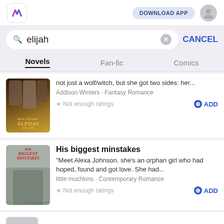[Figure (screenshot): App logo icon with stylized 'W' in pink and purple colors]
DOWNLOAD APP
elijah
CANCEL
Novels
Fan-fic
Comics
[Figure (illustration): Book cover for Alphas romance novel with muscular figures]
not just a wolf/witch, but she got two sides: her...
Addison Winters · Fantasy Romance
★ Not enough ratings
⊕ ADD
[Figure (illustration): Book cover for His biggest minstakes with couple embracing]
His biggest minstakes
"Meet Alexa Johnson. she's an orphan girl who had hoped, found and got love. She had...
little muchkins · Contemporary Romance
★ Not enough ratings
⊕ ADD
#ACTION  #ADVENTURE  #R18  #SYSTEM